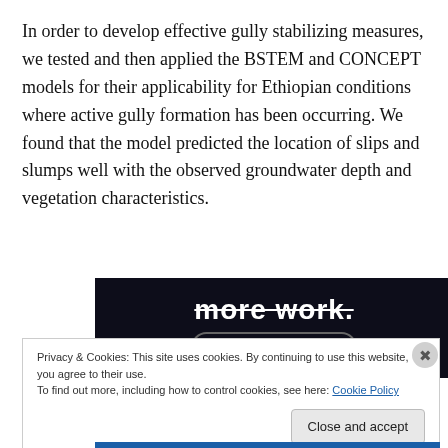In order to develop effective gully stabilizing measures, we tested and then applied the BSTEM and CONCEPT models for their applicability for Ethiopian conditions where active gully formation has been occurring. We found that the model predicted the location of slips and slumps well with the observed groundwater depth and vegetation characteristics.
[Figure (screenshot): Dark advertisement banner with bold white text 'more work.' with strikethrough, and a 'Get started for free' button with rounded border]
Privacy & Cookies: This site uses cookies. By continuing to use this website, you agree to their use.
To find out more, including how to control cookies, see here: Cookie Policy
Close and accept